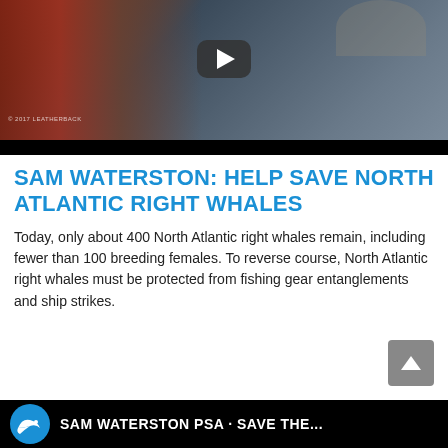[Figure (screenshot): Video thumbnail showing aerial view of ocean/coastline with reddish algae and dark water, with a YouTube-style play button overlay. Black bar at bottom.]
SAM WATERSTON: HELP SAVE NORTH ATLANTIC RIGHT WHALES
Today, only about 400 North Atlantic right whales remain, including fewer than 100 breeding females. To reverse course, North Atlantic right whales must be protected from fishing gear entanglements and ship strikes.
[Figure (screenshot): Bottom black banner with whale logo and partial text SAM WATERSTON PSA]